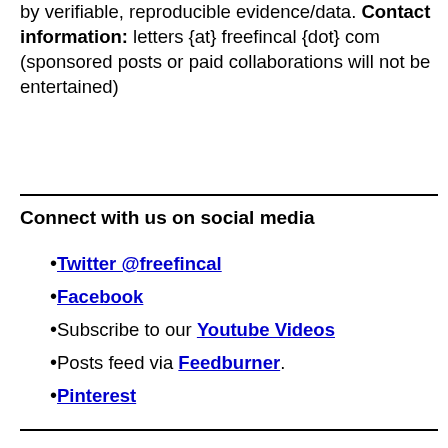by verifiable, reproducible evidence/data. Contact information: letters {at} freefincal {dot} com (sponsored posts or paid collaborations will not be entertained)
Connect with us on social media
Twitter @freefincal
Facebook
Subscribe to our Youtube Videos
Posts feed via Feedburner.
Pinterest